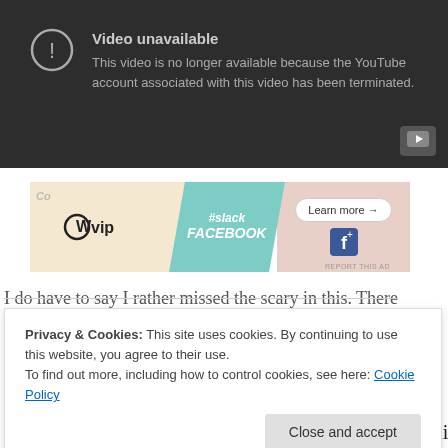[Figure (screenshot): YouTube video unavailable error screen with dark background, exclamation icon, text 'Video unavailable' and 'This video is no longer available because the YouTube account associated with this video has been terminated.' with YouTube button in bottom-right corner.]
[Figure (screenshot): Advertisement banner with WordPress VIP logo, slack and Facebook text, and 'Learn more →' button on mixed colorful background. 'REPORT THIS AD' text at bottom right.]
I do have to say I rather missed the scary in this. There
Privacy & Cookies: This site uses cookies. By continuing to use this website, you agree to their use.
To find out more, including how to control cookies, see here: Cookie Policy
no where near as chilling as witches generally are in fairy